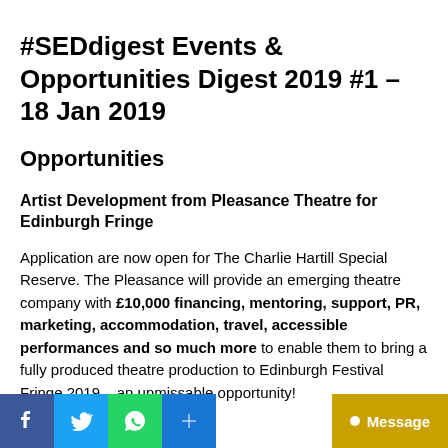#SEDdigest Events & Opportunities Digest 2019 #1 – 18 Jan 2019
Opportunities
Artist Development from Pleasance Theatre for Edinburgh Fringe
Application are now open for The Charlie Hartill Special Reserve. The Pleasance will provide an emerging theatre company with £10,000 financing, mentoring, support, PR, marketing, accommodation, travel, accessible performances and so much more to enable them to bring a fully produced theatre production to Edinburgh Festival Fringe 2019 – an unmissable opportunity!